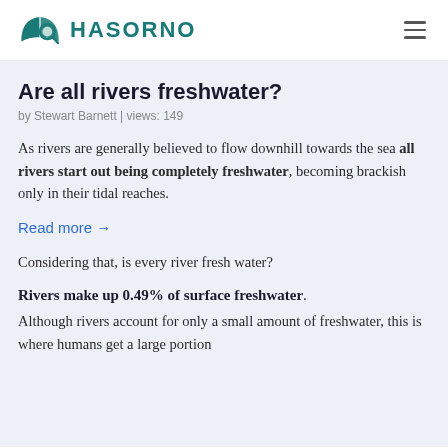HASORNO
Are all rivers freshwater?
by Stewart Barnett | views: 149
As rivers are generally believed to flow downhill towards the sea all rivers start out being completely freshwater, becoming brackish only in their tidal reaches.
Read more →
Considering that, is every river fresh water?
Rivers make up 0.49% of surface freshwater. Although rivers account for only a small amount of freshwater, this is where humans get a large portion